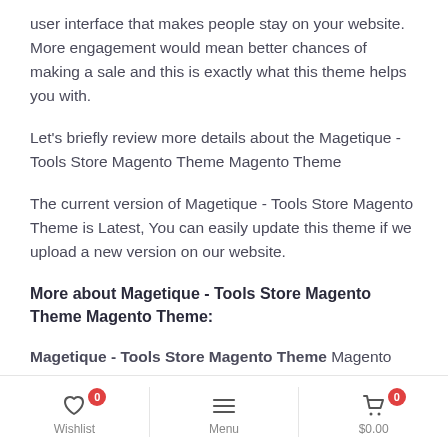user interface that makes people stay on your website. More engagement would mean better chances of making a sale and this is exactly what this theme helps you with.
Let's briefly review more details about the Magetique - Tools Store Magento Theme Magento Theme
The current version of Magetique - Tools Store Magento Theme is Latest, You can easily update this theme if we upload a new version on our website.
More about Magetique - Tools Store Magento Theme Magento Theme:
Magetique - Tools Store Magento Theme Magento theme enables you to create responsive online store UI designs with flexible shopping Cart Features. These features allow you to set up an easy to navigate online
Wishlist  0   Menu   $0.00  0